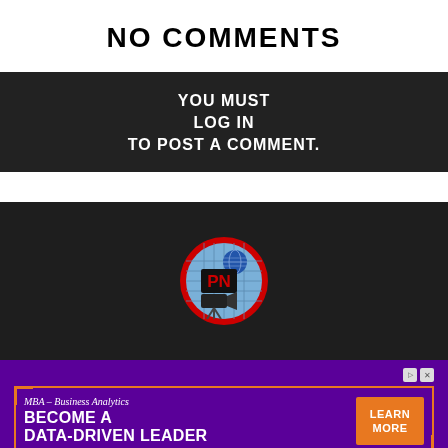NO COMMENTS
YOU MUST LOG IN TO POST A COMMENT.
[Figure (logo): Circular logo with red border, blue grid background, globe icon, 'PN' text in red block letters, and film camera graphic]
[Figure (other): Advertisement for High Point University MBA – Business Analytics program. Text: 'MBA – Business Analytics', 'BECOME A DATA-DRIVEN LEADER', 'LEARN MORE' button, 'High Point University']